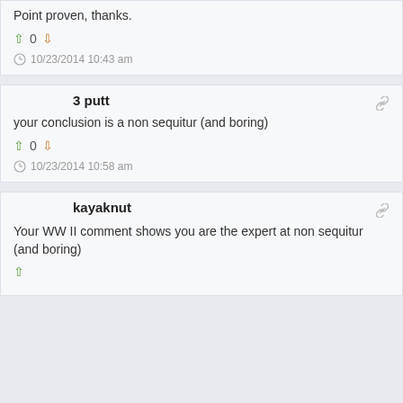Point proven, thanks.
↑ 0 ↓
10/23/2014 10:43 am
3 putt
your conclusion is a non sequitur (and boring)
↑ 0 ↓
10/23/2014 10:58 am
kayaknut
Your WW II comment shows you are the expert at non sequitur (and boring)